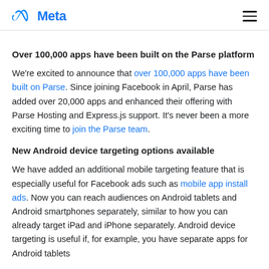Meta
Over 100,000 apps have been built on the Parse platform
We're excited to announce that over 100,000 apps have been built on Parse. Since joining Facebook in April, Parse has added over 20,000 apps and enhanced their offering with Parse Hosting and Express.js support. It's never been a more exciting time to join the Parse team.
New Android device targeting options available
We have added an additional mobile targeting feature that is especially useful for Facebook ads such as mobile app install ads. Now you can reach audiences on Android tablets and Android smartphones separately, similar to how you can already target iPad and iPhone separately. Android device targeting is useful if, for example, you have separate apps for Android tablets